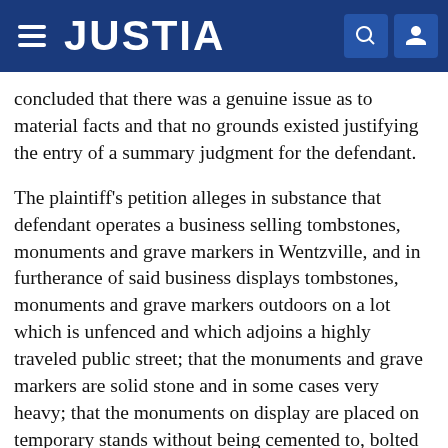JUSTIA
concluded that there was a genuine issue as to material facts and that no grounds existed justifying the entry of a summary judgment for the defendant.
The plaintiff's petition alleges in substance that defendant operates a business selling tombstones, monuments and grave markers in Wentzville, and in furtherance of said business displays tombstones, monuments and grave markers outdoors on a lot which is unfenced and which adjoins a highly traveled public street; that the monuments and grave markers are solid stone and in some cases very heavy; that the monuments on display are placed on temporary stands without being cemented to, bolted to or permanently attached thereto; that the bottom surfaces of the tombstones and the top surface of the temporary stands are irregular and unsmooth and projections on